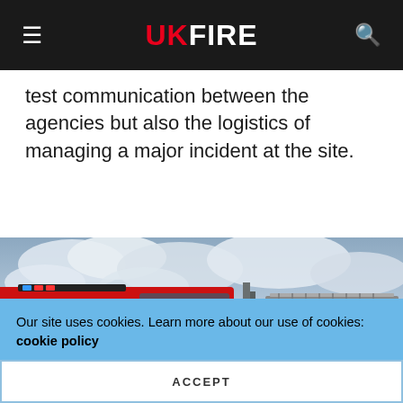UK FIRE
test communication between the agencies but also the logistics of managing a major incident at the site.
[Figure (photo): Two red fire engines parked at an industrial site with firefighters in yellow/green high-vis gear standing between them. Cloudy sky in background. A van is visible on the right.]
Our site uses cookies. Learn more about our use of cookies: cookie policy
ACCEPT